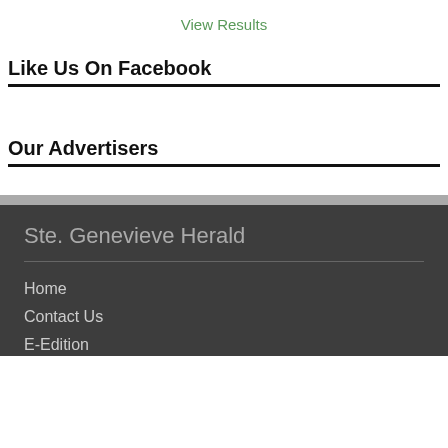View Results
Like Us On Facebook
Our Advertisers
Ste. Genevieve Herald
Home
Contact Us
E-Edition